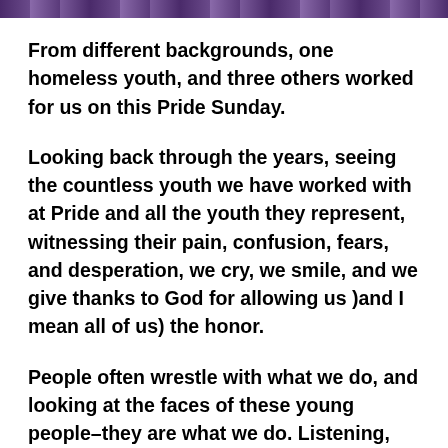[Figure (photo): Partial image strip at top of page showing people, appears to be a cropped photograph]
From different backgrounds, one homeless youth, and three others worked for us on this Pride Sunday.
Looking back through the years, seeing the countless youth we have worked with at Pride and all the youth they represent, witnessing their pain, confusion, fears, and desperation, we cry, we smile, and we give thanks to God for allowing us )and I mean all of us) the honor.
People often wrestle with what we do, and looking at the faces of these young people–they are what we do. Listening, simply listening moment to moment, giving them of our time, the two greatest gifts of all.
A number of years ago an outreach worker from another agency walked with me on the street. And as we always do we listened, gave food, and socks, and